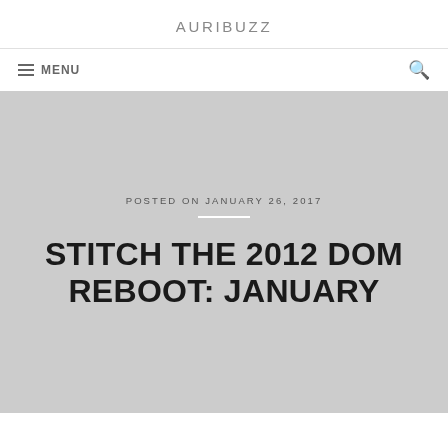AURIBUZZ
≡ MENU
POSTED ON JANUARY 26, 2017
STITCH THE 2012 DOM REBOOT: JANUARY